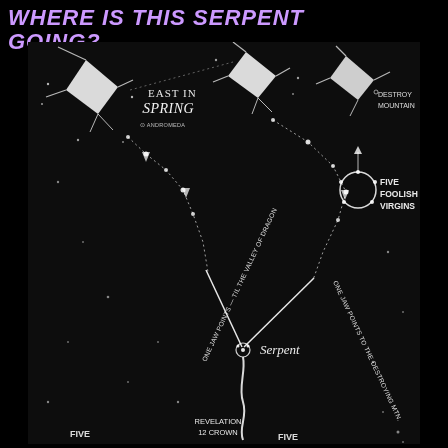WHERE IS THIS SERPENT GOING?
[Figure (illustration): Astronomical/constellation diagram on black background showing a serpent path. Labels include: EAST IN SPRING, DESTROY MOUNTAIN, FIVE FOOLISH VIRGINS, ONE JAW POINTS TO THE VALLEY OF DRAGON, ONE JAW POINTS TO THE DESTROYING MTN., SERPENT, REVELATION 12 CROWN, FIVE (x2). Constellation patterns shown with white stars and connecting lines, with a V-shaped serpent path leading downward to a serpent figure, and crowns at the bottom.]